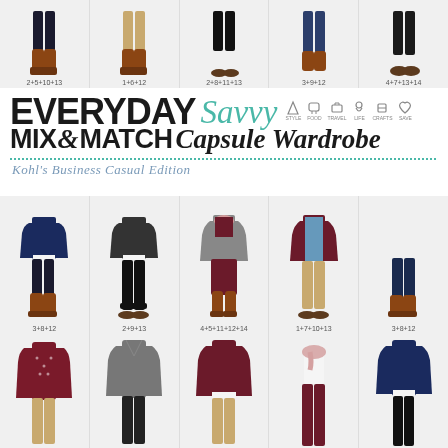[Figure (infographic): Everyday Savvy Mix & Match Capsule Wardrobe - Kohl's Business Casual Edition. Shows outfit combinations in three rows of five outfits each, with item combination codes below each outfit (e.g., 2+5+10+13, 1+6+12, 2+8+11+13, 3+9+12, 4+7+13+14, 3+8+12, 2+9+13, 4+5+11+12+14, 1+7+10+13, 3+8+12). The page features the blog name 'Everyday Savvy' with a capsule wardrobe title and Kohl's Business Casual Edition subtitle.]
EVERYDAY Savvy Mix & Match Capsule Wardrobe
Kohl's Business Casual Edition
2+5+10+13
1+6+12
2+8+11+13
3+9+12
4+7+13+14
3+8+12
2+9+13
4+5+11+12+14
1+7+10+13
3+8+12